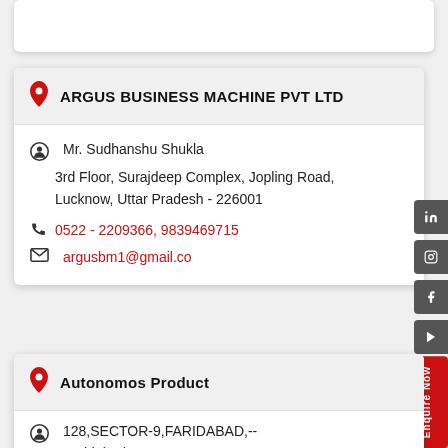ARGUS BUSINESS MACHINE PVT LTD
Mr. Sudhanshu Shukla
3rd Floor, Surajdeep Complex, Jopling Road, Lucknow, Uttar Pradesh - 226001
0522 - 2209366, 9839469715
argusbm1@gmail.co
Autonomos Product
128,SECTOR-9,FARIDABAD,--
Faridabad, Haryana - 121006
9811444953